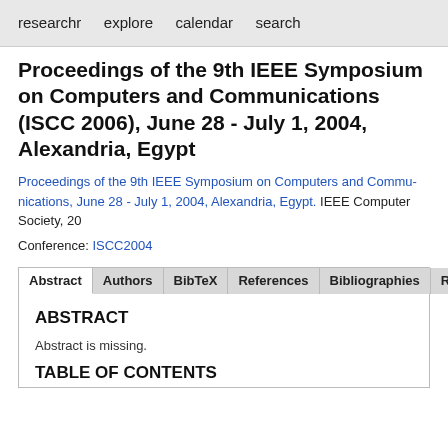researchr   explore   calendar   search
Proceedings of the 9th IEEE Symposium on Computers and Communications (ISCC 2006), June 28 - July 1, 2004, Alexandria, Egypt
Proceedings of the 9th IEEE Symposium on Computers and Communications, June 28 - July 1, 2004, Alexandria, Egypt. IEEE Computer Society, 2004.
Conference: ISCC2004
ABSTRACT
Abstract is missing.
TABLE OF CONTENTS